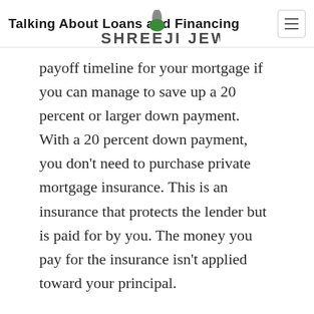Talking About Loans and Financing
[Figure (logo): Shreeji Jewels logo with stylized jewel icon and text 'SHREEJI JEWELS']
payoff timeline for your mortgage if you can manage to save up a 20 percent or larger down payment. With a 20 percent down payment, you don't need to purchase private mortgage insurance. This is an insurance that protects the lender but is paid for by you. The money you pay for the insurance isn't applied toward your principal.